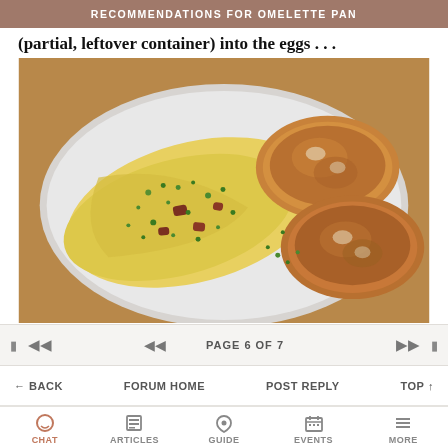RECOMMENDATIONS FOR OMELETTE PAN
(partial, leftover container) into the eggs . . .
[Figure (photo): A white plate with a folded omelette garnished with green chives and bacon pieces, alongside two pieces of toasted bread, on a wooden table.]
PAGE 6 OF 7
← BACK   FORUM HOME   POST REPLY   TOP ↑
CHAT   ARTICLES   GUIDE   EVENTS   MORE